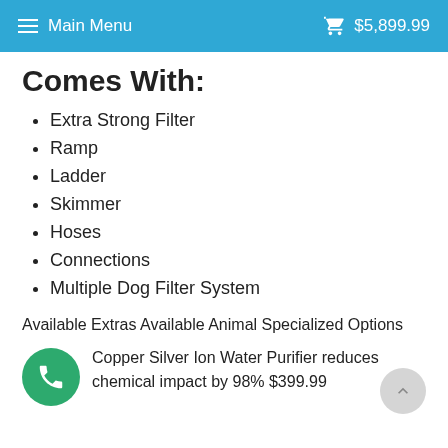Main Menu  $5,899.99
Comes With:
Extra Strong Filter
Ramp
Ladder
Skimmer
Hoses
Connections
Multiple Dog Filter System
Available Extras Available Animal Specialized Options
Copper Silver Ion Water Purifier reduces chemical impact by 98% $399.99